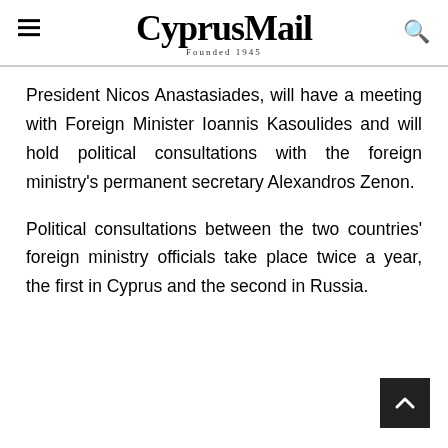CyprusMail — Founded 1945
President Nicos Anastasiades, will have a meeting with Foreign Minister Ioannis Kasoulides and will hold political consultations with the foreign ministry's permanent secretary Alexandros Zenon.
Political consultations between the two countries' foreign ministry officials take place twice a year, the first in Cyprus and the second in Russia.